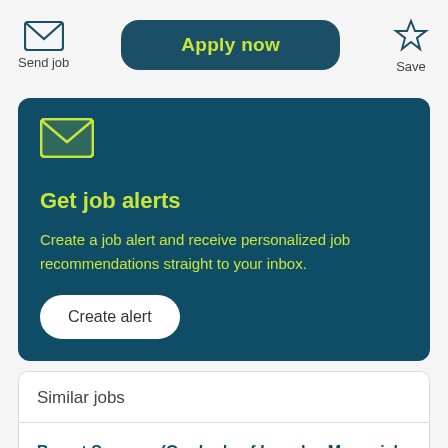[Figure (screenshot): Top action bar with Send job (envelope icon), Apply now button, and Save (star icon)]
Get job alerts
Create a job alert and receive personalized job recommendations straight to your inbox.
Create alert
Similar jobs
Breast Surgeon (Our Lady of Lourdes Memorial Hospital)